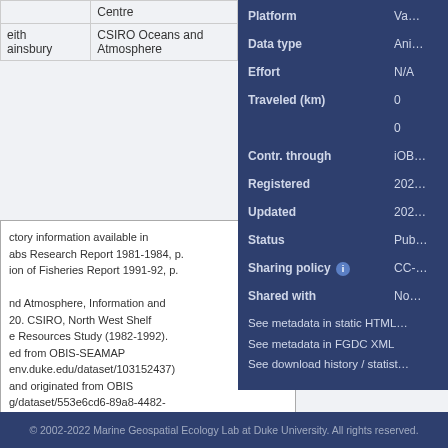| Name | Organisation | Contact |
| --- | --- | --- |
|  | Centre |  |
| eith ainsbury | CSIRO Oceans and Atmosphere | [email] |
ctory information available in abs Research Report 1981-1984, p. ion of Fisheries Report 1991-92, p.

nd Atmosphere, Information and 20. CSIRO, North West Shelf e Resources Study (1982-1992). ed from OBIS-SEAMAP env.duke.edu/dataset/103152437) and originated from OBIS g/dataset/553e6cd6-89a8-4482-6ee)
| Field | Value |
| --- | --- |
| Platform | Va… |
| Data type | Ani… |
| Effort | N/A |
| Traveled (km) | 0 |
|  | 0 |
| Contr. through | iOB… |
| Registered | 202… |
| Updated | 202… |
| Status | Pub… |
| Sharing policy | CC-… |
| Shared with | No… |
See metadata in static HTML
See metadata in FGDC XML
See download history / statist…
© 2002-2022 Marine Geospatial Ecology Lab at Duke University. All rights reserved.